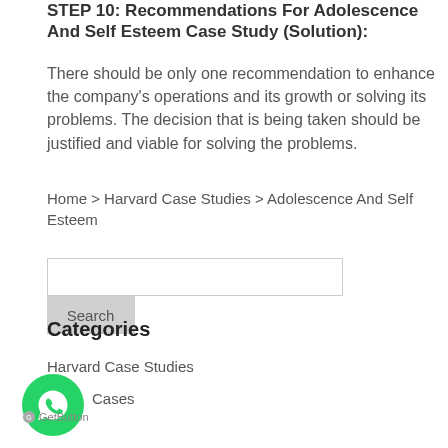STEP 10: Recommendations For Adolescence And Self Esteem Case Study (Solution):
There should be only one recommendation to enhance the company's operations and its growth or solving its problems. The decision that is being taken should be justified and viable for solving the problems.
Home > Harvard Case Studies > Adolescence And Self Esteem
[Figure (other): Search input box with Search button]
Categories
Harvard Case Studies
[Figure (other): WhatsApp GetButton chat widget icon]
Cases
GetButton